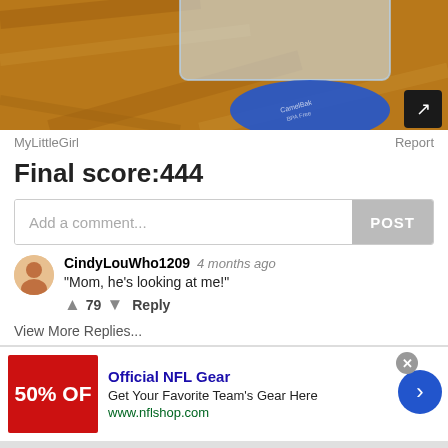[Figure (photo): Photo of a clear plastic container/lid with a blue circular lid on a wooden floor background, with a share icon button in the bottom right corner]
MyLittleGirl
Report
Final score:444
Add a comment...
POST
CindyLouWho1209  4 months ago
"Mom, he's looking at me!"
↑  79  ↓  Reply
View More Replies...
[Figure (infographic): Advertisement for Official NFL Gear showing a red banner with '50% OFF' text, with title 'Official NFL Gear', description 'Get Your Favorite Team's Gear Here', URL 'www.nflshop.com', close button, and navigation arrow]